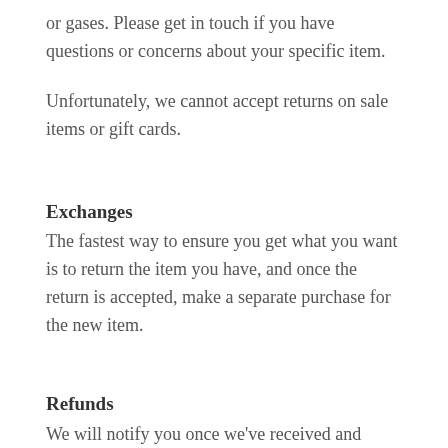or gases. Please get in touch if you have questions or concerns about your specific item.
Unfortunately, we cannot accept returns on sale items or gift cards.
Exchanges
The fastest way to ensure you get what you want is to return the item you have, and once the return is accepted, make a separate purchase for the new item.
Refunds
We will notify you once we've received and inspected your return, and let you know if the refund was approved or not. If approved, you'll be automatically refunded on your